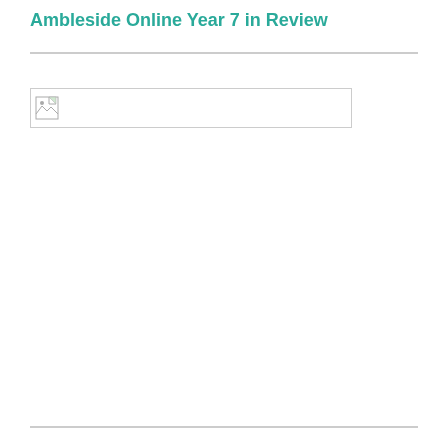Ambleside Online Year 7 in Review
[Figure (photo): Broken image placeholder — a wide banner image that failed to load, shown as a white rectangle with a broken image icon in the top-left corner]